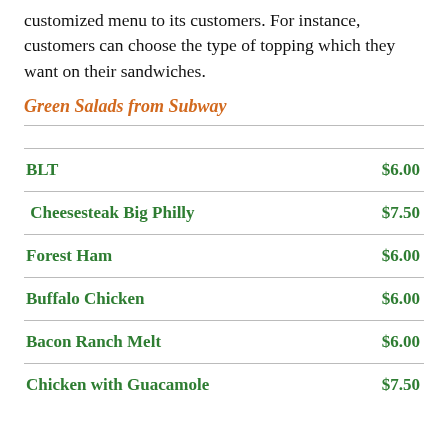customized menu to its customers. For instance, customers can choose the type of topping which they want on their sandwiches.
Green Salads from Subway
| Item | Price |
| --- | --- |
| BLT | $6.00 |
| Cheesesteak Big Philly | $7.50 |
| Forest Ham | $6.00 |
| Buffalo Chicken | $6.00 |
| Bacon Ranch Melt | $6.00 |
| Chicken with Guacamole | $7.50 |